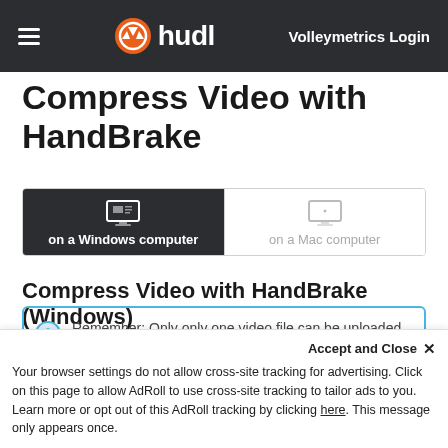hudl — Volleymetrics Login
Compress Video with HandBrake
[Figure (screenshot): Tab selector with two options: 'on a Windows computer' (active, dark background) and 'on a Mac computer' (inactive, light background). Each tab has a monitor icon.]
Compress Video with HandBrake (Windows)
Remember: Only only one video file can be uploaded per match. If your match video is in multiple files, you may
Accept and Close ×
Your browser settings do not allow cross-site tracking for advertising. Click on this page to allow AdRoll to use cross-site tracking to tailor ads to you. Learn more or opt out of this AdRoll tracking by clicking here. This message only appears once.